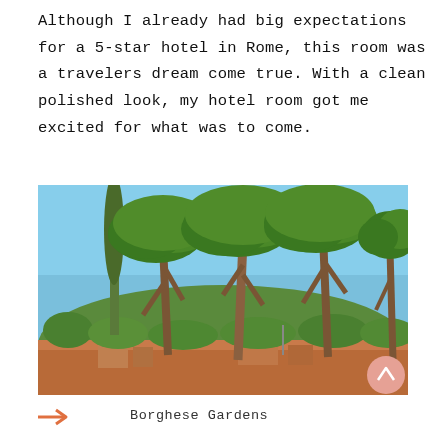Although I already had big expectations for a 5-star hotel in Rome, this room was a travelers dream come true. With a clean polished look, my hotel room got me excited for what was to come.
[Figure (photo): Outdoor photograph of Borghese Gardens in Rome showing tall Mediterranean stone pine trees with wide canopies against a clear blue sky, with terracotta-colored buildings visible in the lower portion.]
Borghese Gardens